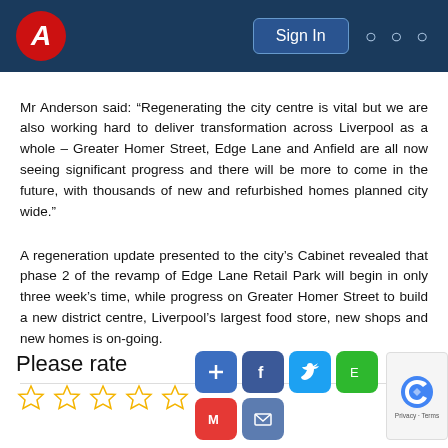Sign In
Mr Anderson said: “Regenerating the city centre is vital but we are also working hard to deliver transformation across Liverpool as a whole – Greater Homer Street, Edge Lane and Anfield are all now seeing significant progress and there will be more to come in the future, with thousands of new and refurbished homes planned city wide.”
A regeneration update presented to the city’s Cabinet revealed that phase 2 of the revamp of Edge Lane Retail Park will begin in only three week’s time, while progress on Greater Homer Street to build a new district centre, Liverpool’s largest food store, new shops and new homes is on-going.
Please rate